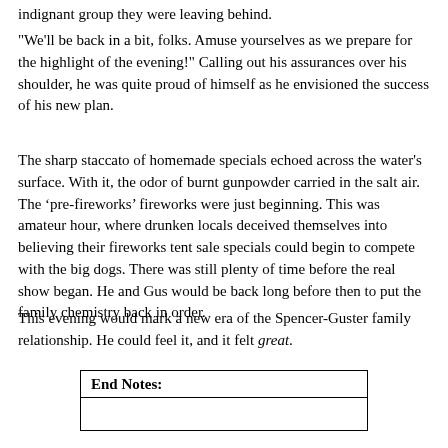indignant group they were leaving behind.
"We'll be back in a bit, folks. Amuse yourselves as we prepare for the highlight of the evening!" Calling out his assurances over his shoulder, he was quite proud of himself as he envisioned the success of his new plan.
The sharp staccato of homemade specials echoed across the water's surface. With it, the odor of burnt gunpowder carried in the salt air. The ‘pre-fireworks’ fireworks were just beginning. This was amateur hour, where drunken locals deceived themselves into believing their fireworks tent sale specials could begin to compete with the big dogs. There was still plenty of time before the real show began. He and Gus would be back long before then to put the family chemistry back in order.
This evening would mark a new era of the Spencer-Guster family relationship. He could feel it, and it felt great.
| End Notes: |
| --- |
|  |